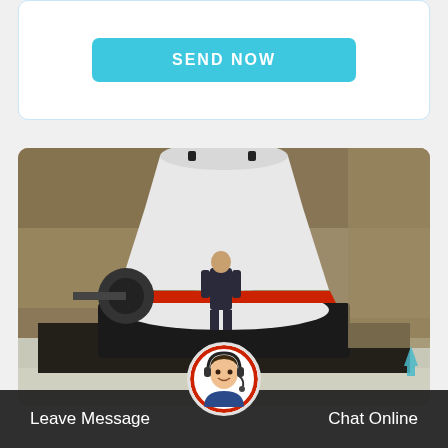[Figure (other): A 'SEND NOW' button in cyan/teal color on a white card with light blue border]
[Figure (photo): Industrial cone crusher machine (white body with red band) installed in a rocky excavation site, with a person standing in front for scale. Concrete foundation visible at bottom.]
Leave Message
[Figure (photo): Customer service avatar - woman with headset smiling, circular badge with red border]
Chat Online